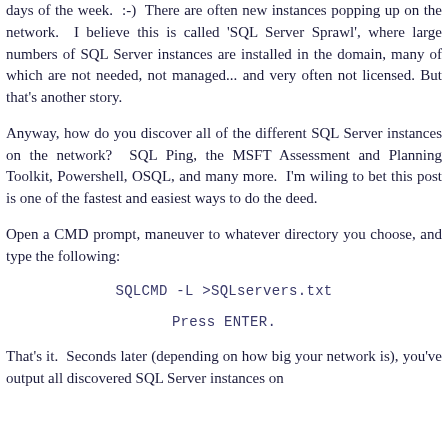days of the week.  :-)  There are often new instances popping up on the network.  I believe this is called 'SQL Server Sprawl', where large numbers of SQL Server instances are installed in the domain, many of which are not needed, not managed... and very often not licensed. But that's another story.
Anyway, how do you discover all of the different SQL Server instances on the network?  SQL Ping, the MSFT Assessment and Planning Toolkit, Powershell, OSQL, and many more.  I'm wiling to bet this post is one of the fastest and easiest ways to do the deed.
Open a CMD prompt, maneuver to whatever directory you choose, and type the following:
Press ENTER.
That's it.  Seconds later (depending on how big your network is), you've output all discovered SQL Server instances on